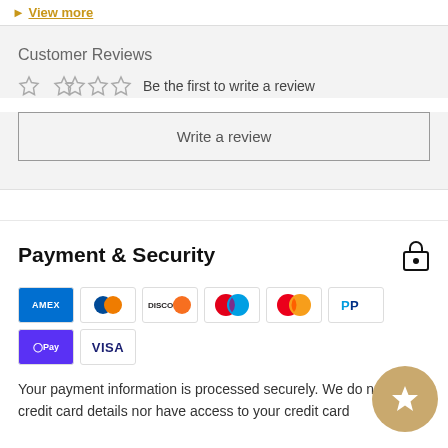▶ View more
Customer Reviews
☆☆☆☆☆  Be the first to write a review
Write a review
Payment & Security
[Figure (infographic): Payment method logos: AMEX, Diners Club, Discover, Maestro, Mastercard, PayPal, Apple Pay (GPay shown), Visa]
Your payment information is processed securely. We do not store credit card details nor have access to your credit card